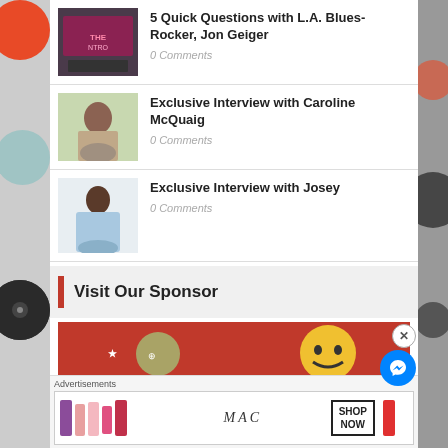[Figure (photo): Thumbnail image of band with neon 'THE NTRO' sign]
5 Quick Questions with L.A. Blues-Rocker, Jon Geiger
0 Comments
[Figure (photo): Thumbnail image of Caroline McQuaig outdoors]
Exclusive Interview with Caroline McQuaig
0 Comments
[Figure (photo): Thumbnail image of Josey in blue outfit]
Exclusive Interview with Josey
0 Comments
Visit Our Sponsor
[Figure (photo): Sponsor advertisement image with smiley face and red background]
Advertisements
[Figure (photo): MAC cosmetics advertisement with lipsticks and Shop Now button]